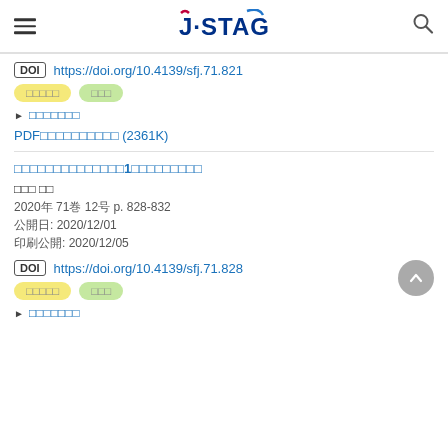J-STAGE
DOI https://doi.org/10.4139/sfj.71.821
□□□□□  □□□
▶ □□□□□□□
PDF□□□□□□□□□□ (2361K)
□□□□□□□□□□□□□□1□□□□□□□□□
□□□ □□
2020年71巻12号 p. 828-832
公開日: 2020/12/01
印刷公開: 2020/12/05
DOI https://doi.org/10.4139/sfj.71.828
□□□□□  □□□
▶ □□□□□□□